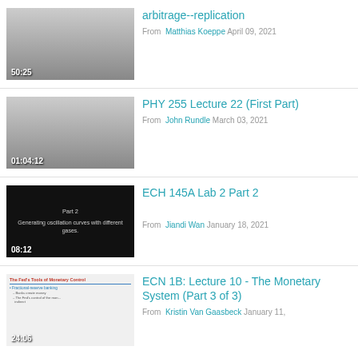[Figure (screenshot): Video thumbnail with gradient gray background, duration 50:25]
arbitrage--replication
From Matthias Koeppe April 09, 2021
[Figure (screenshot): Video thumbnail with gradient gray background, duration 01:04:12]
PHY 255 Lecture 22 (First Part)
From John Rundle March 03, 2021
[Figure (screenshot): Video thumbnail with black background showing Part 2 Generating oscillation curves with different gases, duration 08:12]
ECH 145A Lab 2 Part 2
From Jiandi Wan January 18, 2021
[Figure (screenshot): Video thumbnail showing slide about The Fed's Tools of Monetary Control, duration 24:06]
ECN 1B: Lecture 10 - The Monetary System (Part 3 of 3)
From Kristin Van Gaasbeck January 11,